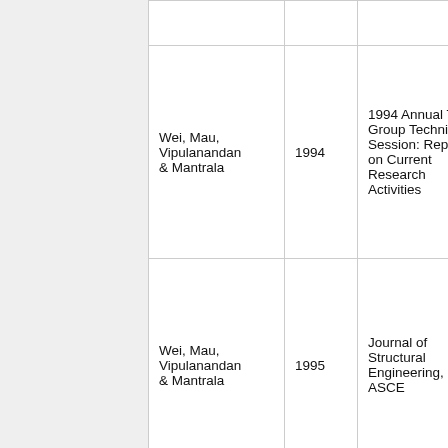| Author(s) | Year | Source/Publication | Detail |
| --- | --- | --- | --- |
| Wei, Mau, Vipulanandan & Mantrala | 1994 | 1994 Annual Task Group Technical Session: Reports on Current Research Activities | W... a... "I... T... A... R... A... U... S... E... 2... |
| Wei, Mau, Vipulanandan & Mantrala | 1995 | Journal of Structural Engineering, ASCE | W... a... "I... u... J... A... p... |